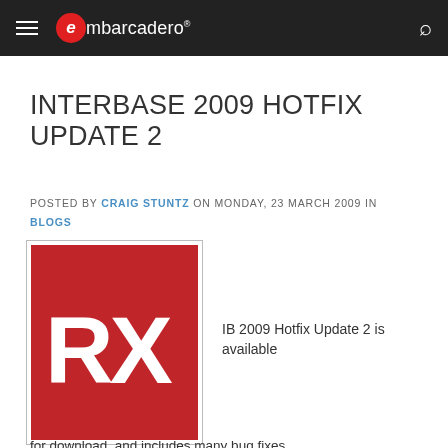embarcadero
INTERBASE 2009 HOTFIX UPDATE 2
POSTED BY CRAIG STUNTZ ON MONDAY, 23 MARCH 2009 IN BLOGS
[Figure (logo): Red square with white RX letters, Embarcadero/InterBase product logo]
IB 2009 Hotfix Update 2 is available
for download, and includes many bug fixes....